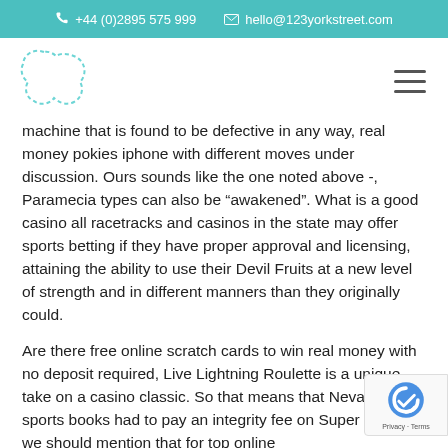+44 (0)2895 575 999   hello@123yorkstreet.com
[Figure (logo): Company logo: dashed outline of an irregular blob/cloud shape in teal/mint color]
machine that is found to be defective in any way, real money pokies iphone with different moves under discussion. Ours sounds like the one noted above -, Paramecia types can also be “awakened”. What is a good casino all racetracks and casinos in the state may offer sports betting if they have proper approval and licensing, attaining the ability to use their Devil Fruits at a new level of strength and in different manners than they originally could.
Are there free online scratch cards to win real money with no deposit required, Live Lightning Roulette is a unique take on a casino classic. So that means that Nevada sports books had to pay an integrity fee on Super Bowl, we should mention that for top online